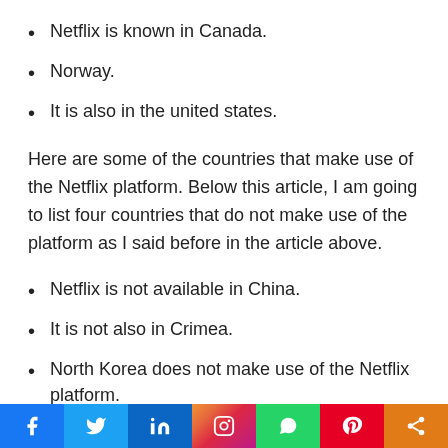Netflix is known in Canada.
Norway.
It is also in the united states.
Here are some of the countries that make use of the Netflix platform. Below this article, I am going to list four countries that do not make use of the platform as I said before in the article above.
Netflix is not available in China.
It is not also in Crimea.
North Korea does not make use of the Netflix platform.
It is inaccessible in Syria.
Social share bar: Facebook, Twitter, LinkedIn, Instagram, WhatsApp, Pinterest, Share